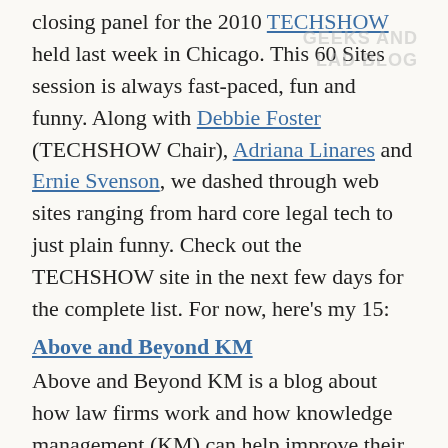closing panel for the 2010 TECHSHOW held last week in Chicago. This 60 Sites session is always fast-paced, fun and funny. Along with Debbie Foster (TECHSHOW Chair), Adriana Linares and Ernie Svenson, we dashed through web sites ranging from hard core legal tech to just plain funny. Check out the TECHSHOW site in the next few days for the complete list. For now, here’s my 15:
Above and Beyond KM
Above and Beyond KM is a blog about how law firms work and how knowledge management (KM) can help improve their efforts. Mary Abraham’s observations are based on her experience practicing law and then practicing knowledge management in a New York City firm. A “go-to” legal KM blog.
Lexician